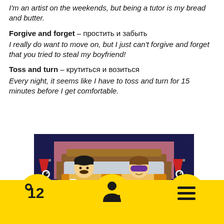I'm an artist on the weekends, but being a tutor is my bread and butter.
Forgive and forget – простить и забыть
I really do want to move on, but I just can't forgive and forget that you tried to steal my boyfriend!
Toss and turn – крутиться и возиться
Every night, it seems like I have to toss and turn for 15 minutes before I get comfortable.
[Figure (illustration): Cartoon illustration of two characters lying in a bed, one wearing a sleep mask, with nightstands and lamps on either side, in an animated style similar to South Park.]
Navigation bar with logo, user icon, and menu icon on yellow background